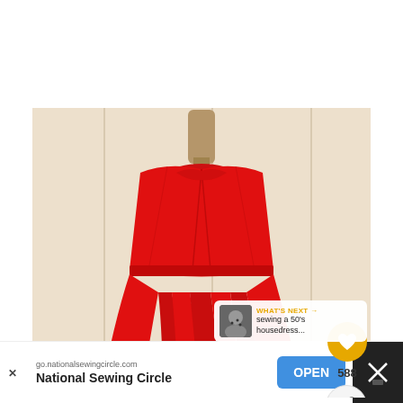[Figure (photo): A red sleeveless vintage-style pleated dress on a dressmaker's mannequin, displayed against a cream/beige wood-paneled background. The dress has a small collar and a full pleated skirt. UI overlays show a gold heart/like button with count 588, a share button, and a 'WHAT'S NEXT' card for 'sewing a 50's housedress...']
588
WHAT'S NEXT → sewing a 50's housedress...
go.nationalsewingcircle.com
National Sewing Circle
OPEN